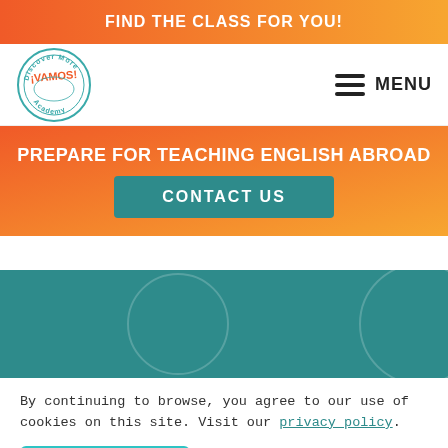FIND THE CLASS FOR YOU!
[Figure (logo): ¡Vamos! Academy circular stamp logo with 'Discover More' text around the border]
MENU
PREPARE FOR TEACHING ENGLISH ABROAD
CONTACT US
[Figure (illustration): Teal band with decorative circle outlines]
By continuing to browse, you agree to our use of cookies on this site. Visit our privacy policy.
ACCEPT
No cookies, please.